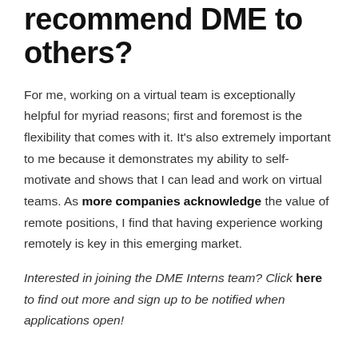recommend DME to others?
For me, working on a virtual team is exceptionally helpful for myriad reasons; first and foremost is the flexibility that comes with it. It’s also extremely important to me because it demonstrates my ability to self-motivate and shows that I can lead and work on virtual teams. As more companies acknowledge the value of remote positions, I find that having experience working remotely is key in this emerging market.
Interested in joining the DME Interns team? Click here to find out more and sign up to be notified when applications open!